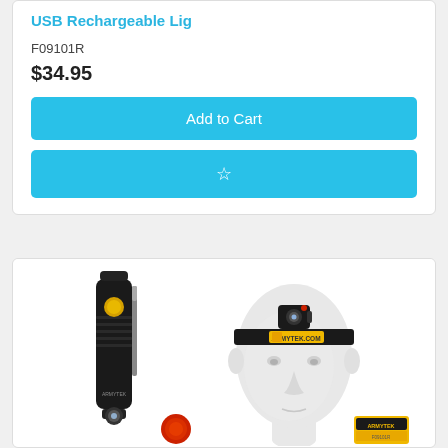USB Rechargeable Lig
F09101R
$34.95
Add to Cart
[Figure (photo): Product photo showing an Armytek USB rechargeable headlamp/flashlight. Left side shows a black cylindrical flashlight with a gold/orange accent button and a clip. Right side shows a white mannequin head wearing the light as a headlamp with a black and yellow branded strap reading 'ARMYTEK.COM'. Bottom of image shows a red filter accessory and a yellow branded package.]